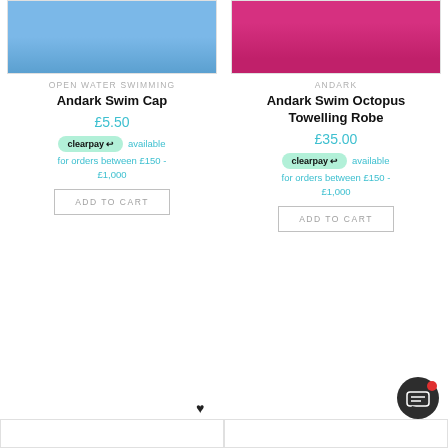[Figure (photo): Blue swim cap product photo (cropped, top portion visible)]
OPEN WATER SWIMMING
Andark Swim Cap
£5.50
clearpay available for orders between £150 - £1,000
ADD TO CART
[Figure (photo): Pink/magenta towelling robe product photo (cropped, top portion visible)]
ANDARK
Andark Swim Octopus Towelling Robe
£35.00
clearpay available for orders between £150 - £1,000
ADD TO CART